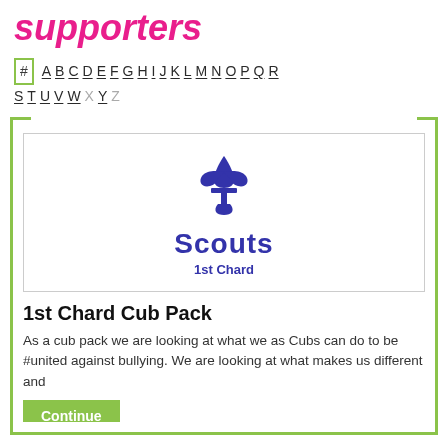supporters
# A B C D E F G H I J K L M N O P Q R S T U V W X Y Z
[Figure (logo): Scouts 1st Chard logo with fleur-de-lis symbol in purple/indigo, with text 'Scouts' and '1st Chard']
1st Chard Cub Pack
As a cub pack we are looking at what we as Cubs can do to be #united against bullying. We are looking at what makes us different and